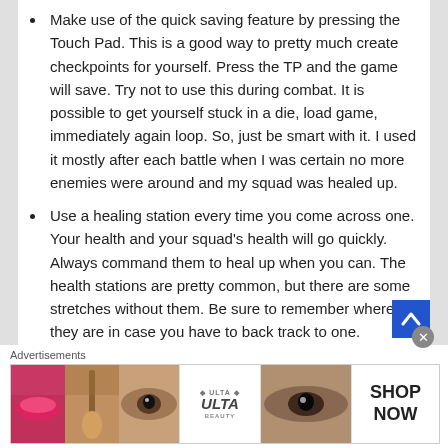Make use of the quick saving feature by pressing the Touch Pad. This is a good way to pretty much create checkpoints for yourself. Press the TP and the game will save. Try not to use this during combat. It is possible to get yourself stuck in a die, load game, immediately again loop. So, just be smart with it. I used it mostly after each battle when I was certain no more enemies were around and my squad was healed up.
Use a healing station every time you come across one. Your health and your squad's health will go quickly. Always command them to heal up when you can. The health stations are pretty common, but there are some stretches without them. Be sure to remember where they are in case you have to back track to one.
Advertisements
[Figure (illustration): Advertisement banner for ULTA beauty with makeup imagery including lips, brush, eyes, ULTA logo, and SHOP NOW text]